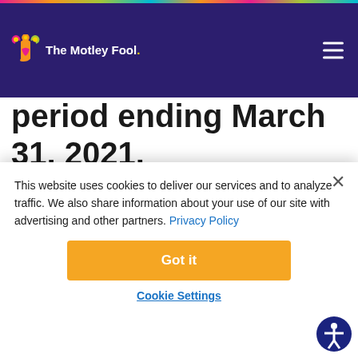The Motley Fool
period ending March 31, 2021.
Frank's International
N.V. (FI)
This website uses cookies to deliver our services and to analyze traffic. We also share information about your use of our site with advertising and other partners. Privacy Policy
Got it
Cookie Settings